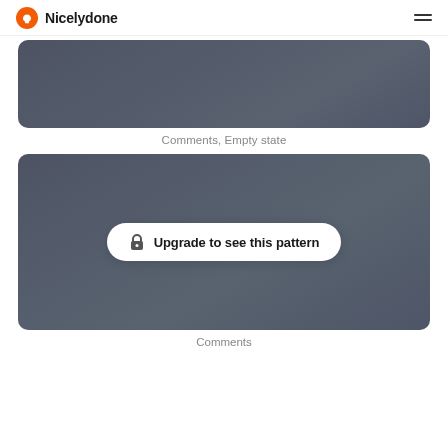Nicelydone
[Figure (screenshot): Dark gray blurred screenshot card representing Comments Empty state UI pattern]
Comments, Empty state
[Figure (screenshot): Dark gray blurred screenshot card with 'Upgrade to see this pattern' overlay pill containing a lock icon]
Comments